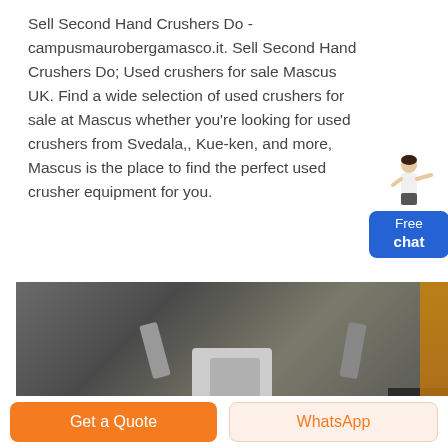Sell Second Hand Crushers Do - campusmaurobergamasco.it. Sell Second Hand Crushers Do; Used crushers for sale Mascus UK. Find a wide selection of used crushers for sale at Mascus whether you're looking for used crushers from Svedala,, Kue-ken, and more, Mascus is the place to find the perfect used crusher equipment for you.
[Figure (illustration): A chat widget showing a female figure pointing, with a blue button labeled 'Free chat']
[Figure (photo): A photograph of industrial crusher machinery with mechanical arms and components, partially obscured, with an orange vertical bar on the right side]
Get a Quote
WhatsApp